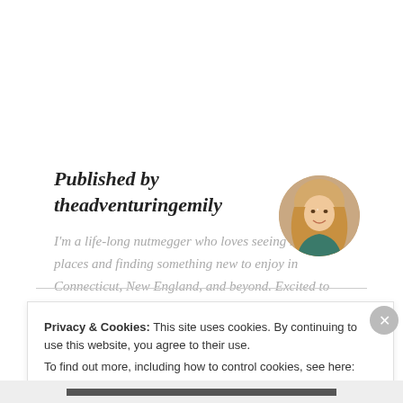Published by theadventuringemily
I'm a life-long nutmegger who loves seeing new places and finding something new to enjoy in Connecticut, New England, and beyond. Excited to start sharing my adventures with the world! View all posts by theadventuringemily
[Figure (photo): Circular profile photo of a young woman with long blonde hair, smiling, in a restaurant or bar setting]
Privacy & Cookies: This site uses cookies. By continuing to use this website, you agree to their use. To find out more, including how to control cookies, see here: Cookie Policy